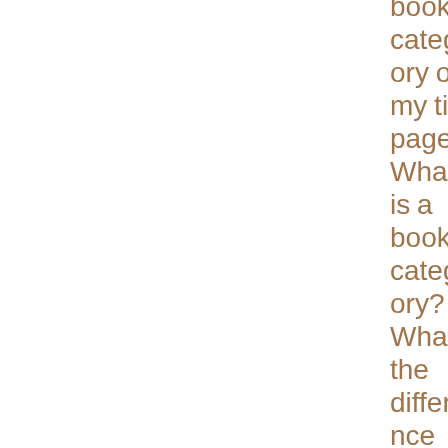book category on my title page? What is a book category? What's the difference between literary fiction and just